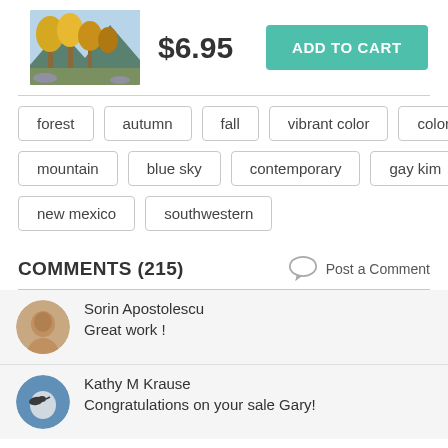[Figure (photo): Product thumbnail of a landscape painting with autumn trees (yellow/orange foliage), mountains, and blue sky]
$6.95
ADD TO CART
forest
autumn
fall
vibrant color
colorful
mountain
blue sky
contemporary
gay kim
new mexico
southwestern
COMMENTS  (215)
Post a Comment
Sorin Apostolescu
Great work !
Kathy M Krause
Congratulations on your sale Gary!